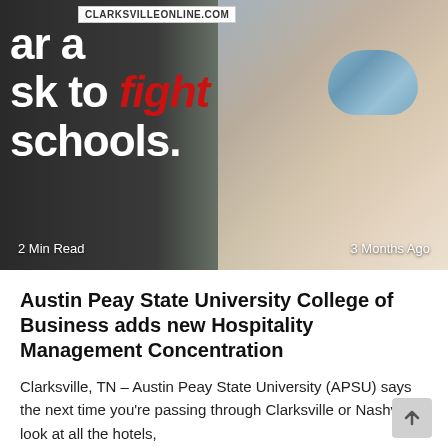[Figure (photo): A woman wearing a blue patterned face mask with blonde hair, photographed in what appears to be a classroom setting. Overlaid text reads partial headline about wearing a mask to fight in schools. Domain badge shows CLARKSVILLEONLINE.COM.]
CLARKSVILLEONLINE.COM
2 Min Read
3 Months Ago
Austin Peay State University College of Business adds new Hospitality Management Concentration
Clarksville, TN – Austin Peay State University (APSU) says the next time you're passing through Clarksville or Nashville, look at all the hotels,